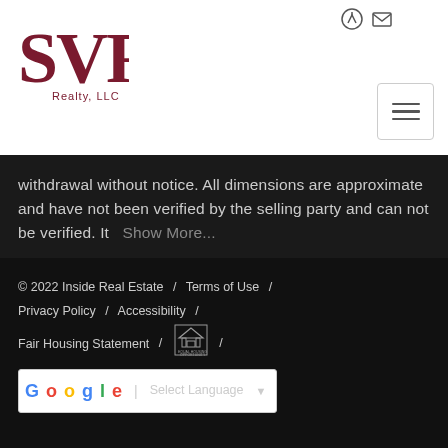[Figure (logo): SVR Realty LLC logo in dark red/maroon color]
withdrawal without notice. All dimensions are approximate and have not been verified by the selling party and can not be verified. It   Show More...
© 2022 Inside Real Estate / Terms of Use / Privacy Policy / Accessibility / Fair Housing Statement / [Equal Housing Logo] / Select Language